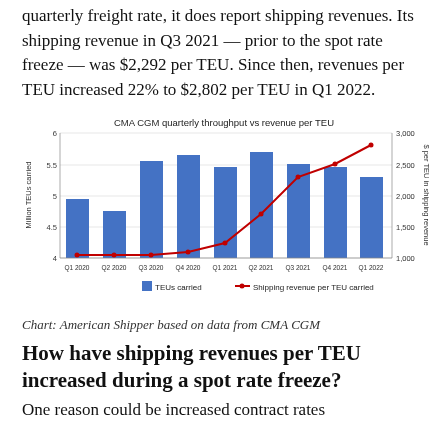quarterly freight rate, it does report shipping revenues. Its shipping revenue in Q3 2021 — prior to the spot rate freeze — was $2,292 per TEU. Since then, revenues per TEU increased 22% to $2,802 per TEU in Q1 2022.
[Figure (grouped-bar-chart): CMA CGM quarterly throughput vs revenue per TEU]
Chart: American Shipper based on data from CMA CGM
How have shipping revenues per TEU increased during a spot rate freeze?
One reason could be increased contract rates